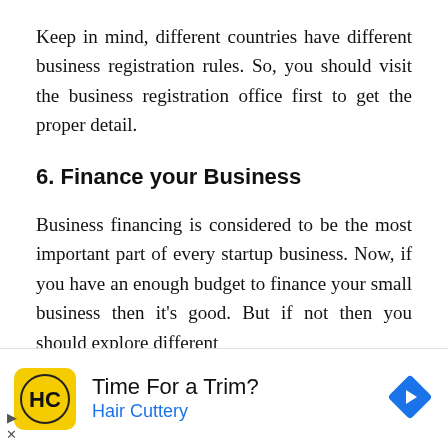Keep in mind, different countries have different business registration rules. So, you should visit the business registration office first to get the proper detail.
6. Finance your Business
Business financing is considered to be the most important part of every startup business. Now, if you have an enough budget to finance your small business then it’s good. But if not then you should explore different financing options available to you.
[Figure (infographic): Advertisement banner for Hair Cuttery with yellow HC logo, text 'Time For a Trim?' and 'Hair Cuttery' in blue, and a blue diamond navigation arrow on the right.]